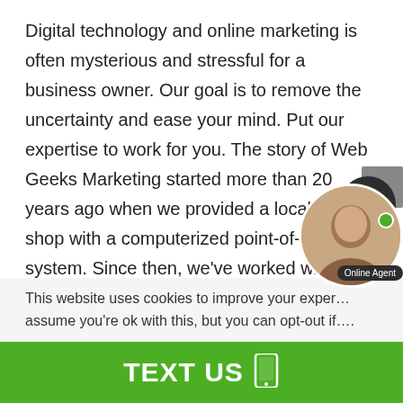Digital technology and online marketing is often mysterious and stressful for a business owner. Our goal is to remove the uncertainty and ease your mind. Put our expertise to work for you. The story of Web Geeks Marketing started more than 20 years ago when we provided a local bicycle shop with a computerized point-of-sale system. Since then, we've worked with hundreds of organizations across Canada, the USA and the Caribb…
This website uses cookies to improve your exper… assume you're ok with this, but you can opt-out if….
TEXT US